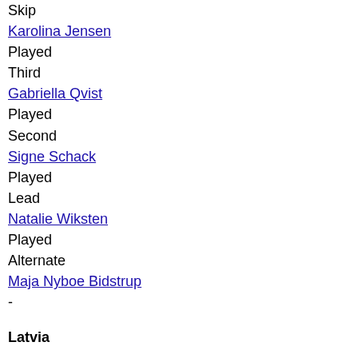Skip
Karolina Jensen
Played
Third
Gabriella Qvist
Played
Second
Signe Schack
Played
Lead
Natalie Wiksten
Played
Alternate
Maja Nyboe Bidstrup
-
Latvia
Skip
Evelina Barone
Played
Third
Rezija Ievina
Played
Second